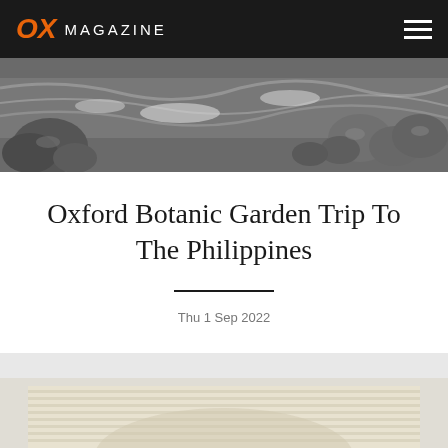OX MAGAZINE
[Figure (photo): River with rocks and flowing water, black and white / grayscale photo]
Oxford Botanic Garden Trip To The Philippines
Thu 1 Sep 2022
[Figure (photo): Partial view of a person in a striped yellow/cream garment, cropped at bottom of page]